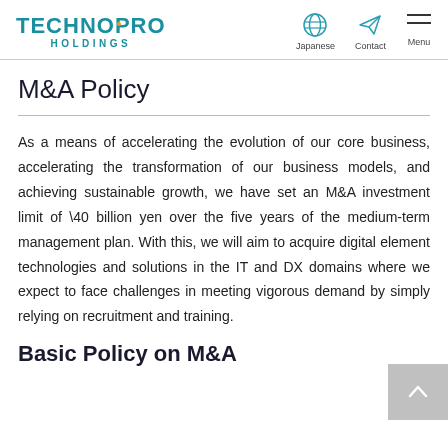TECHNOPRO HOLDINGS
M&A Policy
As a means of accelerating the evolution of our core business, accelerating the transformation of our business models, and achieving sustainable growth, we have set an M&A investment limit of \40 billion yen over the five years of the medium-term management plan. With this, we will aim to acquire digital element technologies and solutions in the IT and DX domains where we expect to face challenges in meeting vigorous demand by simply relying on recruitment and training.
Basic Policy on M&A